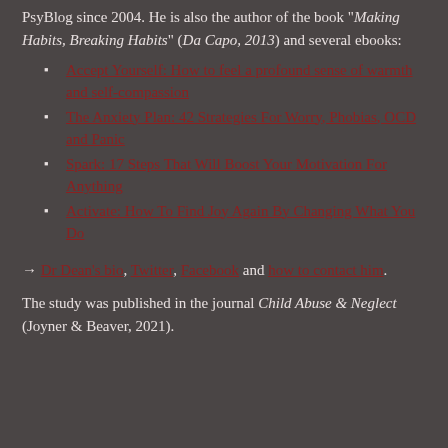PsyBlog since 2004. He is also the author of the book "Making Habits, Breaking Habits" (Da Capo, 2013) and several ebooks:
Accept Yourself: How to feel a profound sense of warmth and self-compassion
The Anxiety Plan: 42 Strategies For Worry, Phobias, OCD and Panic
Spark: 17 Steps That Will Boost Your Motivation For Anything
Activate: How To Find Joy Again By Changing What You Do
→ Dr Dean's bio, Twitter, Facebook and how to contact him.
The study was published in the journal Child Abuse & Neglect (Joyner & Beaver, 2021).